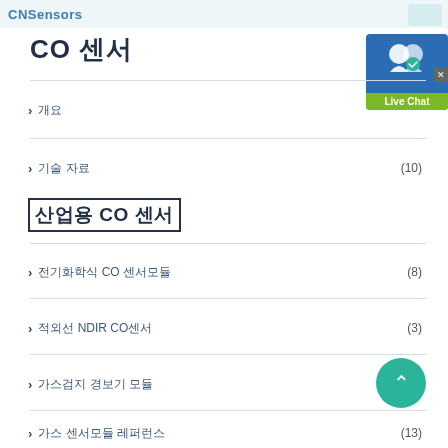CNSensors
CO 센서
> 개요
> 기술 자료  (10)
산업용 CO 센서
> 전기화학식 CO 센서모듈  (8)
> 적외선 NDIR CO센서  (3)
> 가스검지 경보기 모듈
> 가스 센서모듈 레퍼런스  (13)